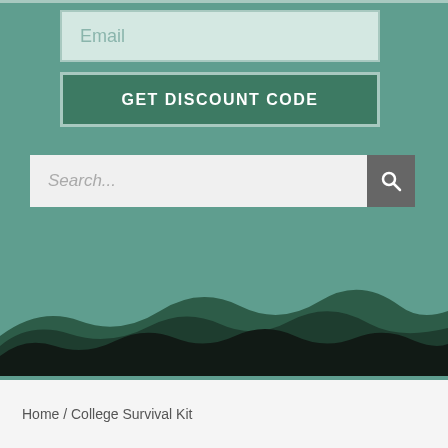[Figure (screenshot): Email input field with light green background and placeholder text 'Email']
[Figure (screenshot): Dark green button labeled 'GET DISCOUNT CODE' in white bold uppercase letters]
[Figure (screenshot): Search bar with light gray background, placeholder text 'Search...' and a dark gray search icon button on the right]
[Figure (illustration): Decorative mountain wave silhouette at the bottom of the green section in dark green and black tones]
Home / College Survival Kit